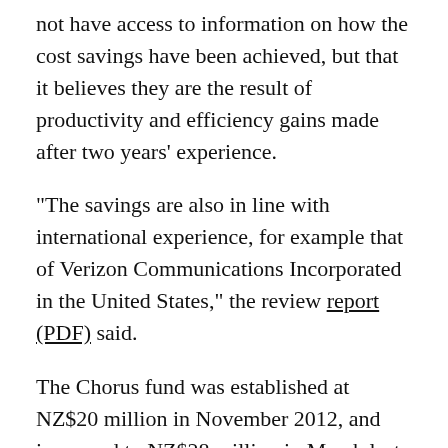not have access to information on how the cost savings have been achieved, but that it believes they are the result of productivity and efficiency gains made after two years' experience.
"The savings are also in line with international experience, for example that of Verizon Communications Incorporated in the United States," the review report (PDF) said.
The Chorus fund was established at NZ$20 million in November 2012, and increased to NZ$28 million in March last year.
That boost was among a package of changes negotiated with Crown Fibre Holdings after